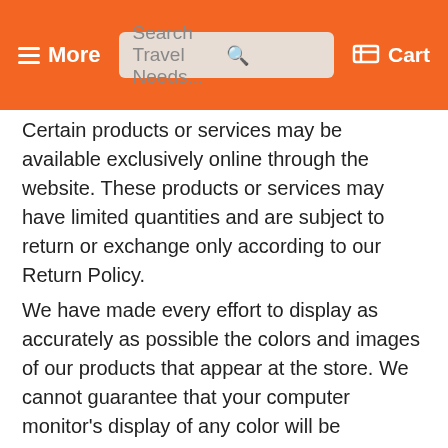More | Search Travel Needs... | Cart
Certain products or services may be available exclusively online through the website. These products or services may have limited quantities and are subject to return or exchange only according to our Return Policy.
We have made every effort to display as accurately as possible the colors and images of our products that appear at the store. We cannot guarantee that your computer monitor's display of any color will be accurate.
We reserve the right, but are not obligated, to limit the sales of our products or Services to any person, geographic region or jurisdiction. We may exercise this right on a case-by-case basis. We reserve the right to limit the quantities of any products or services that we offer. All descriptions of products or product pricing are subject to change at anytime without notice, at the sole discretion of us. We reserve the right to discontinue any product at any time. Any offer for any product or service made on this site is void where prohibited.